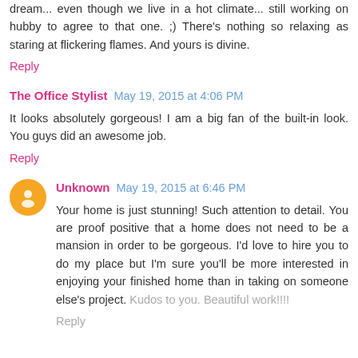dream... even though we live in a hot climate... still working on hubby to agree to that one. ;) There's nothing so relaxing as staring at flickering flames. And yours is divine.
Reply
The Office Stylist  May 19, 2015 at 4:06 PM
It looks absolutely gorgeous! I am a big fan of the built-in look. You guys did an awesome job.
Reply
Unknown  May 19, 2015 at 6:46 PM
Your home is just stunning! Such attention to detail. You are proof positive that a home does not need to be a mansion in order to be gorgeous. I'd love to hire you to do my place but I'm sure you'll be more interested in enjoying your finished home than in taking on someone else's project. Kudos to you. Beautiful work!!!!
Reply